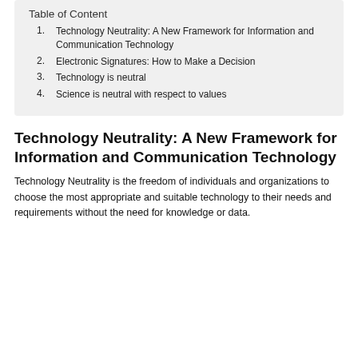Table of Content
1. Technology Neutrality: A New Framework for Information and Communication Technology
2. Electronic Signatures: How to Make a Decision
3. Technology is neutral
4. Science is neutral with respect to values
Technology Neutrality: A New Framework for Information and Communication Technology
Technology Neutrality is the freedom of individuals and organizations to choose the most appropriate and suitable technology to their needs and requirements without the need for knowledge or data.